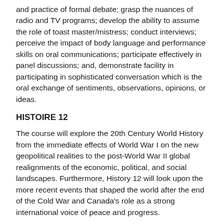and practice of formal debate; grasp the nuances of radio and TV programs; develop the ability to assume the role of toast master/mistress; conduct interviews; perceive the impact of body language and performance skills on oral communications; participate effectively in panel discussions; and, demonstrate facility in participating in sophisticated conversation which is the oral exchange of sentiments, observations, opinions, or ideas.
HISTOIRE 12
The course will explore the 20th Century World History from the immediate effects of World War I on the new geopolitical realities to the post-World War II global realignments of the economic, political, and social landscapes. Furthermore, History 12 will look upon the more recent events that shaped the world after the end of the Cold War and Canada's role as a strong international voice of peace and progress.
History 12 is designed to develop the students' ability to use historical inquiry; recognize implicit and explicit ethical